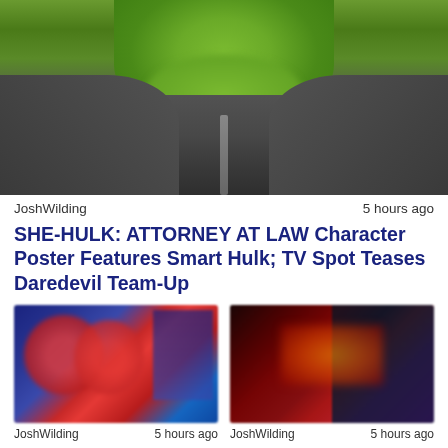[Figure (photo): Blurred photo of Smart Hulk (green-skinned character) wearing a dark grey hoodie, with green grass background visible at top]
JoshWilding    5 hours ago
SHE-HULK: ATTORNEY AT LAW Character Poster Features Smart Hulk; TV Spot Teases Daredevil Team-Up
[Figure (photo): Blurred thumbnail image showing Spider-Man characters in red and blue costumes]
[Figure (photo): Blurred thumbnail image showing dark scene with red and orange lighting, possibly Iron Man or similar character]
JoshWilding    5 hours ago
JoshWilding    5 hours ago